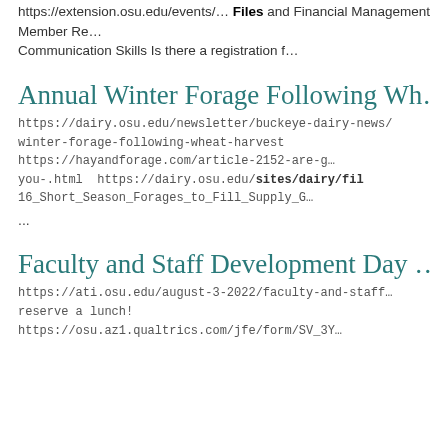Files and Financial Management Member Records Communication Skills Is there a registration f…
Annual Winter Forage Following Wh…
https://dairy.osu.edu/newsletter/buckeye-dairy-news/winter-forage-following-wheat-harvest https://hayandforage.com/article-2152-are-g- you-.html https://dairy.osu.edu/sites/dairy/fil 16_Short_Season_Forages_to_Fill_Supply_G…
...
Faculty and Staff Development Day
https://ati.osu.edu/august-3-2022/faculty-and-staff reserve a lunch!
https://osu.az1.qualtrics.com/jfe/form/SV_3Y…